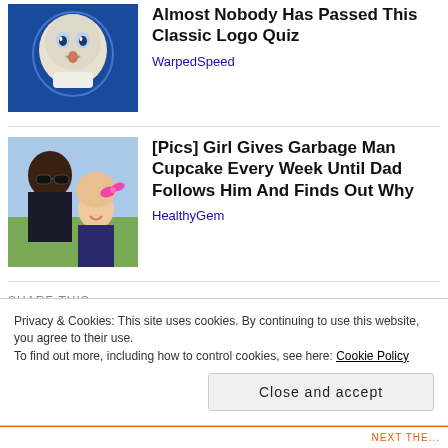Almost Nobody Has Passed This Classic Logo Quiz
WarpedSpeed
[Pics] Girl Gives Garbage Man Cupcake Every Week Until Dad Follows Him And Finds Out Why
HealthyGem
SHARE THIS:
Facebook  Twitter  Email  Print  Pinterest
Privacy & Cookies: This site uses cookies. By continuing to use this website, you agree to their use.
To find out more, including how to control cookies, see here: Cookie Policy
Close and accept